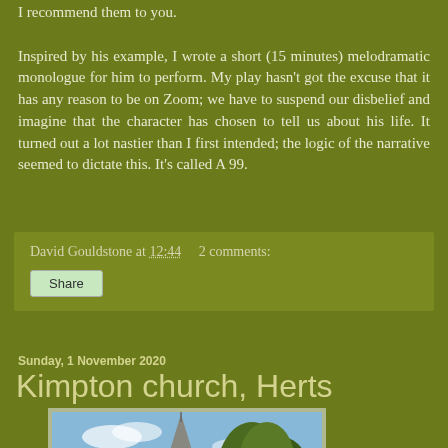I recommend them to you. Inspired by his example, I wrote a short (15 minutes) melodramatic monologue for him to perform. My play hasn't got the excuse that it has any reason to be on Zoom; we have to suspend our disbelief and imagine that the character has chosen to tell us about his life. It turned out a lot nastier than I first intended; the logic of the narrative seemed to dictate this. It's called A 99.
David Gouldstone at 12:44   2 comments:
Share
Sunday, 1 November 2020
Kimpton church, Herts
[Figure (photo): Photo of Kimpton church spire with trees against a blue sky]